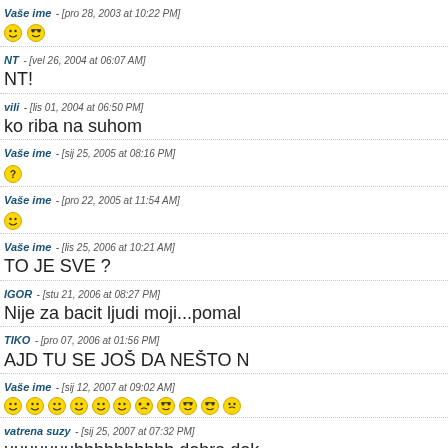Vaše ime - [pro 28, 2003 at 10:22 PM] 😊😎
NT - [vel 26, 2004 at 06:07 AM] NT!
vili - [lis 01, 2004 at 06:50 PM] ko riba na suhom
Vaše ime - [sij 25, 2005 at 08:16 PM] ❓
Vaše ime - [pro 22, 2005 at 11:54 AM] 😀
Vaše ime - [lis 25, 2006 at 10:21 AM] TO JE SVE ?
IGOR - [stu 21, 2006 at 08:27 PM] Nije za bacit ljudi moji...pomal
TIKO - [pro 07, 2006 at 01:56 PM] AJD TU SE JOŠ DA NEŠTO N
Vaše ime - [sij 12, 2007 at 09:02 AM] 😀😀😀😀😀😀😂😎😎😎😕
vatrena suzy - [sij 25, 2007 at 07:32 PM] uuuuuuuhhhhhhhhhh dobra,dok
Vaše ime - [vel 27, 2007 at 09:11 PM] 😀😀😀😀😀
jsdj hll - [kol 07, 2007 at 05:27 PM] %%url%%